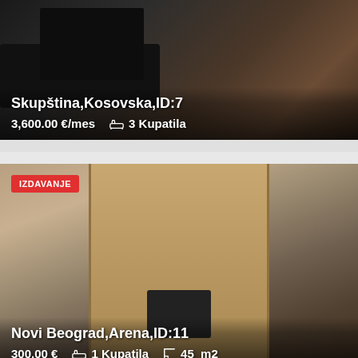[Figure (photo): Interior photo of a room with dark furniture, showing a dark table and shelving unit with wooden tones]
Skupština,Kosovska,ID:7
3,600.00 €/mes   🛁 3 Kupatila
[Figure (photo): Interior photo of a living room with a wooden shelving/TV unit, old CRT television, and striped sofas]
IZDAVANJE
Novi Beograd,Arena,ID:11
300.00 €   🛁 1 Kupatila   📐 45_m2